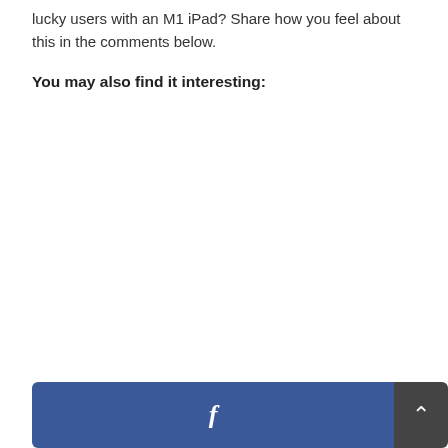lucky users with an M1 iPad? Share how you feel about this in the comments below.
You may also find it interesting: